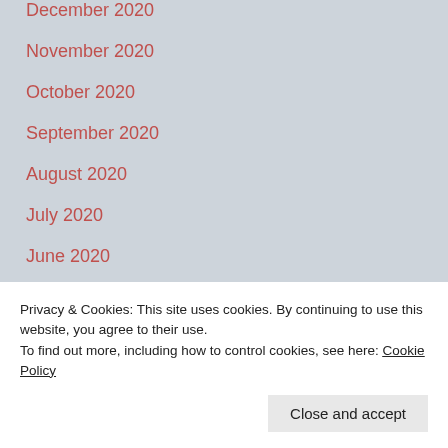December 2020
November 2020
October 2020
September 2020
August 2020
July 2020
June 2020
May 2020
April 2020
December 2019
Privacy & Cookies: This site uses cookies. By continuing to use this website, you agree to their use.
To find out more, including how to control cookies, see here: Cookie Policy